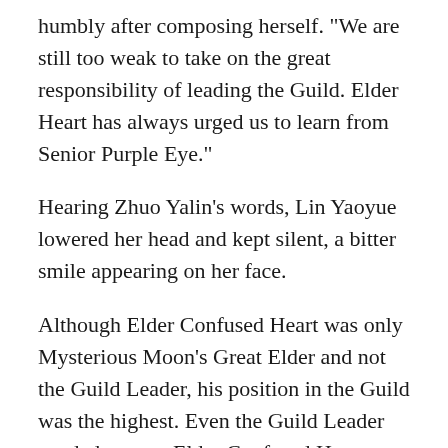humbly after composing herself. "We are still too weak to take on the great responsibility of leading the Guild. Elder Heart has always urged us to learn from Senior Purple Eye."
Hearing Zhuo Yalin's words, Lin Yaoyue lowered her head and kept silent, a bitter smile appearing on her face.
Although Elder Confused Heart was only Mysterious Moon's Great Elder and not the Guild Leader, his position in the Guild was the highest. Even the Guild Leader needed to treat Elder Confused Heart respectfully and carefully listen to his suggestions. This was because Elder Confused Heart was responsible fo